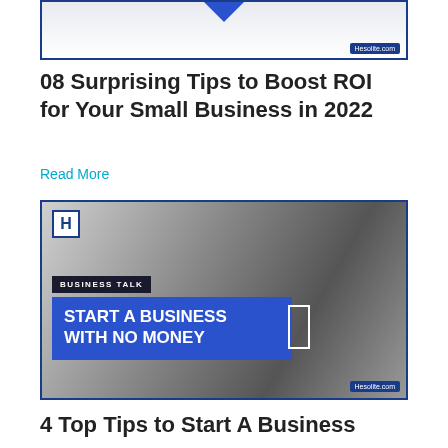[Figure (screenshot): Top portion of a blog post thumbnail image with Hesolite.com branding and blue arrow graphic]
08 Surprising Tips to Boost ROI for Your Small Business in 2022
Read More
[Figure (photo): Hesolite.com blog thumbnail image with black and white background showing a person in a suit writing, overlaid with blue card reading 'BUSINESS TALK - START A BUSINESS WITH NO MONEY' and H logo]
4 Top Tips to Start A Business